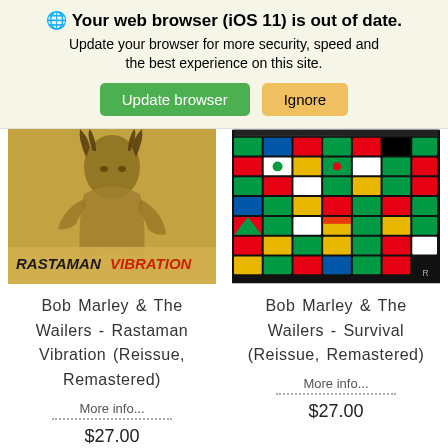🌐 Your web browser (iOS 11) is out of date. Update your browser for more security, speed and the best experience on this site.
[Figure (illustration): Bob Marley Rastaman Vibration album cover - illustration of Bob Marley with text RASTAMAN VIBRATION]
Bob Marley & The Wailers - Rastaman Vibration (Reissue, Remastered)
More info...
$27.00
[Figure (illustration): Bob Marley Survival album cover - grid of African national flags on black background]
Bob Marley & The Wailers - Survival (Reissue, Remastered)
More info...
$27.00